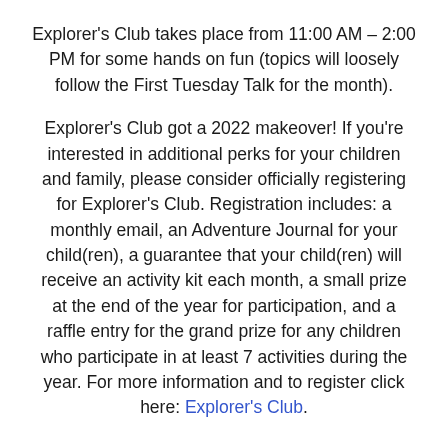Explorer's Club takes place from 11:00 AM – 2:00 PM for some hands on fun (topics will loosely follow the First Tuesday Talk for the month).
Explorer's Club got a 2022 makeover! If you're interested in additional perks for your children and family, please consider officially registering for Explorer's Club. Registration includes: a monthly email, an Adventure Journal for your child(ren), a guarantee that your child(ren) will receive an activity kit each month, a small prize at the end of the year for participation, and a raffle entry for the grand prize for any children who participate in at least 7 activities during the year. For more information and to register click here: Explorer's Club.